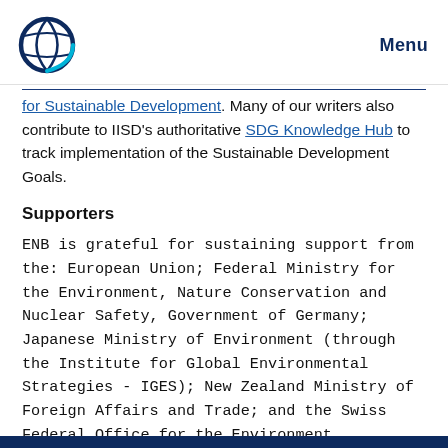Menu
for Sustainable Development. Many of our writers also contribute to IISD's authoritative SDG Knowledge Hub to track implementation of the Sustainable Development Goals.
Supporters
ENB is grateful for sustaining support from the: European Union; Federal Ministry for the Environment, Nature Conservation and Nuclear Safety, Government of Germany; Japanese Ministry of Environment (through the Institute for Global Environmental Strategies - IGES); New Zealand Ministry of Foreign Affairs and Trade; and the Swiss Federal Office for the Environment,